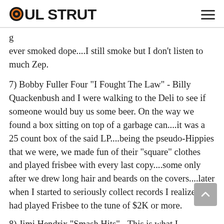SOUL STRUT
ever smoked dope....I still smoke but I don't listen to much Zep.
7) Bobby Fuller Four "I Fought The Law" - Billy Quackenbush and I were walking to the Deli to see if someone would buy us some beer. On the way we found a box sitting on top of a garbage can....it was a 25 count box of the said LP....being the pseudo-Hippies that we were, we made fun of their "square" clothes and played frisbee with every last copy....some only after we drew long hair and beards on the covers....later when I started to seriously collect records I realized we had played Frisbee to the tune of $2K or more.
8) Jimi Hendrix "Smash Hits" - This is what I